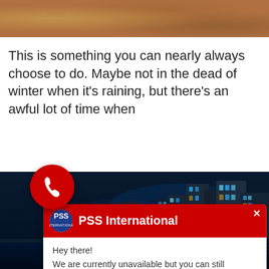[Figure (photo): Top strip: crowded restaurant or cafe scene, warm tones]
This is something you can nearly always choose to do. Maybe not in the dead of winter when it's raining, but there's an awful lot of time when [...]s!
[Figure (screenshot): Chat widget popup from PSS International. Header: red background with PSS logo and title 'PSS International'. Close button X in top right. Body text: 'Hey there! We are currently unavailable but you can still schedule a call with us.' Button: 'BOOK A CALL' in red text on pink background.]
[Figure (photo): Bottom: city skyline at night with reflections in water, colorful building lights]
[Figure (other): Red circular phone/call FAB button in lower left]